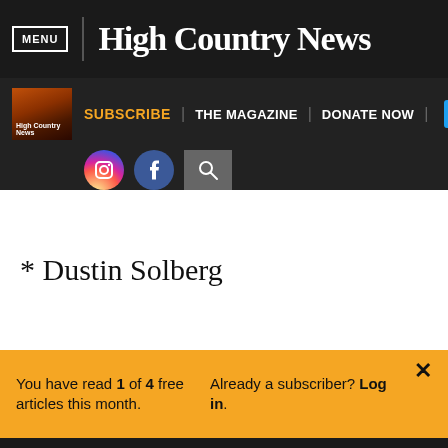MENU | High Country News
SUBSCRIBE | THE MAGAZINE | DONATE NOW
* Dustin Solberg
You have read 1 of 4 free articles this month. Already a subscriber? Log in.
Support independent journalism. Subscribe